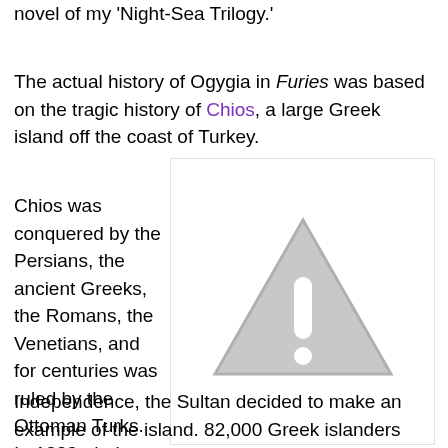novel of my 'Night-Sea Trilogy.'
The actual history of Ogygia in Furies was based on the tragic history of Chios, a large Greek island off the coast of Turkey.
[Figure (illustration): A grey warning/alert triangle icon with an exclamation mark, indicating a missing or unavailable image placeholder.]
Chios was conquered by the Persians, the ancient Greeks, the Romans, the Venetians, and for centuries was ruled by the Ottoman Turks. In 1822, during the Greek War of Independence, the Sultan decided to make an example of the island. 82,000 Greek islanders were hanged, butchered, starved or tortured to death. 50,000 Greeks